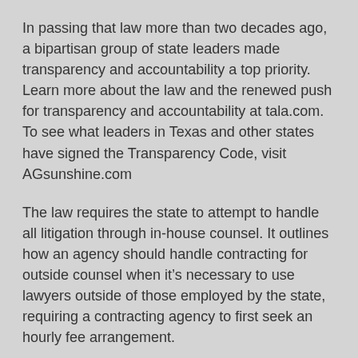In passing that law more than two decades ago, a bipartisan group of state leaders made transparency and accountability a top priority. Learn more about the law and the renewed push for transparency and accountability at tala.com. To see what leaders in Texas and other states have signed the Transparency Code, visit AGsunshine.com
The law requires the state to attempt to handle all litigation through in-house counsel. It outlines how an agency should handle contracting for outside counsel when it’s necessary to use lawyers outside of those employed by the state, requiring a contracting agency to first seek an hourly fee arrangement.
“Attorneys general should, of course, have the discretion and independence to enforce state law. Still, they must do so free from the influence of